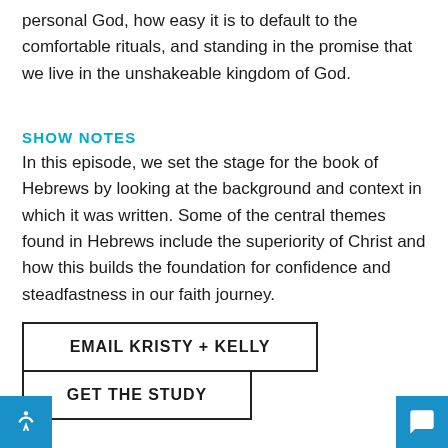personal God, how easy it is to default to the comfortable rituals, and standing in the promise that we live in the unshakeable kingdom of God.
SHOW NOTES
In this episode, we set the stage for the book of Hebrews by looking at the background and context in which it was written. Some of the central themes found in Hebrews include the superiority of Christ and how this builds the foundation for confidence and steadfastness in our faith journey.
EMAIL KRISTY + KELLY
GET THE STUDY